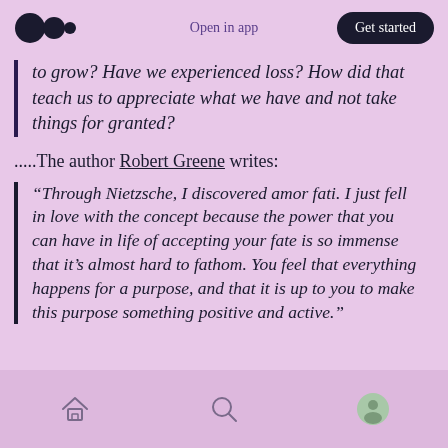Open in app | Get started
to grow? Have we experienced loss? How did that teach us to appreciate what we have and not take things for granted?
.....The author Robert Greene writes:
“Through Nietzsche, I discovered amor fati. I just fell in love with the concept because the power that you can have in life of accepting your fate is so immense that it’s almost hard to fathom. You feel that everything happens for a purpose, and that it is up to you to make this purpose something positive and active.”
Home | Search | Profile